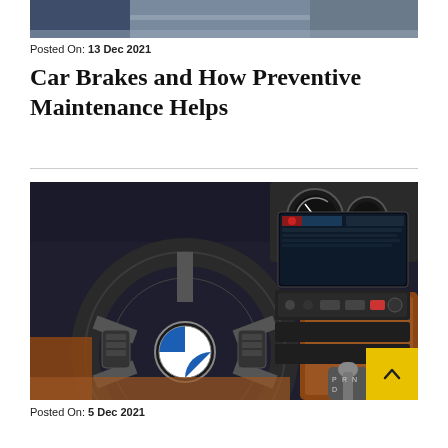[Figure (photo): Top portion of a person photo, cropped — only partial body visible against grey background]
Posted On: 13 Dec 2021
Car Brakes and How Preventive Maintenance Helps
[Figure (photo): BMW car interior showing steering wheel with BMW logo, dashboard with gauges, infotainment screen, and brown/tan leather interior]
Posted On: 5 Dec 2021